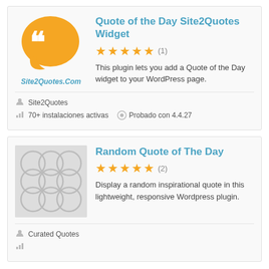[Figure (logo): Orange speech bubble with double quotation mark icon and 'Site2Quotes.Com' label below]
Quote of the Day Site2Quotes Widget
[Figure (other): 5 gold stars rating with (1) review count]
This plugin lets you add a Quote of the Day widget to your WordPress page.
Site2Quotes
70+ instalaciones activas   Probado con 4.4.27
[Figure (illustration): Gray placeholder image with overlapping circle patterns]
Random Quote of The Day
[Figure (other): 5 gold stars rating with (2) review count]
Display a random inspirational quote in this lightweight, responsive Wordpress plugin.
Curated Quotes